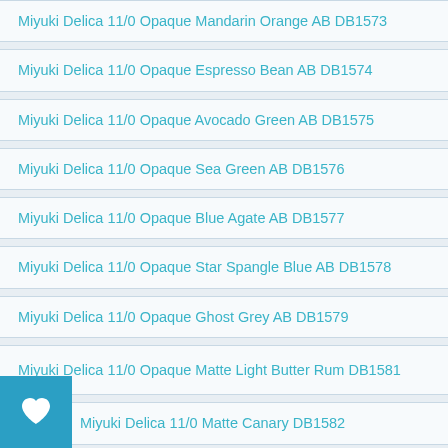Miyuki Delica 11/0 Opaque Mandarin Orange AB DB1573
Miyuki Delica 11/0 Opaque Espresso Bean AB DB1574
Miyuki Delica 11/0 Opaque Avocado Green AB DB1575
Miyuki Delica 11/0 Opaque Sea Green AB DB1576
Miyuki Delica 11/0 Opaque Blue Agate AB DB1577
Miyuki Delica 11/0 Opaque Star Spangle Blue AB DB1578
Miyuki Delica 11/0 Opaque Ghost Grey AB DB1579
Miyuki Delica 11/0 Opaque Matte Light Butter Rum DB1581
Miyuki Delica 11/0 Matte Canary DB1582
Miyuki Delica 11/0 Matte Mandarin Orange DB1583